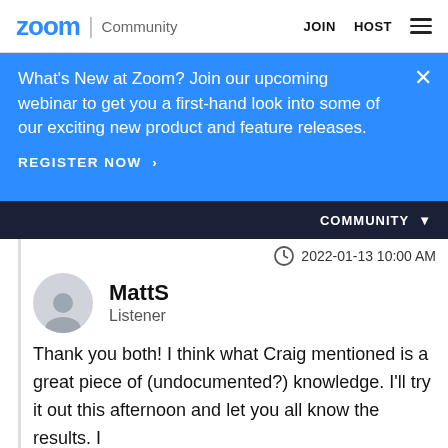zoom | Community   JOIN   HOST
What's New at Zoom? Join our upcoming webinar to get you a first-hand look into some of our exciting new product and feature releases.
REGISTER NOW >
COMMUNITY
2022-01-13 10:00 AM
MattS
Listener
Thank you both! I think what Craig mentioned is a great piece of (undocumented?) knowledge. I'll try it out this afternoon and let you all know the results. I same would work for the phone number